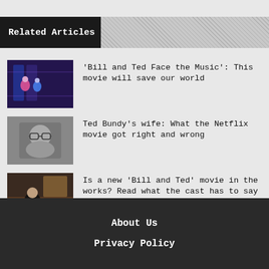Related Articles
'Bill and Ted Face the Music': This movie will save our world
Ted Bundy's wife: What the Netflix movie got right and wrong
Is a new 'Bill and Ted' movie in the works? Read what the cast has to say
The Lifetime Movie Network's movie 'Deadly Transaction'
About Us
Privacy Policy